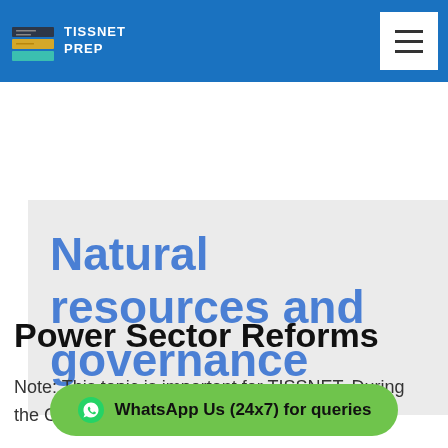TISSNET PREP
Natural resources and governance
Power Sector Reforms
Note: This topic is important for TISSNET. During the Covid-19 ou... proposed the Atmanirbhar Bharat plan, a rescue package